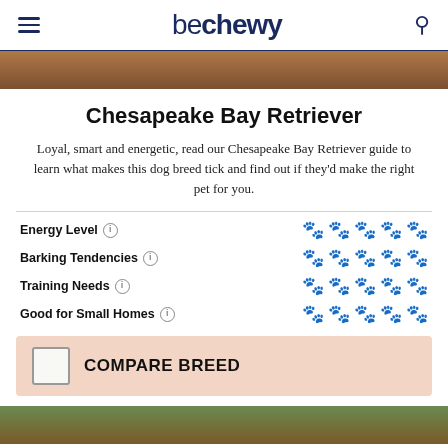be chewy
[Figure (photo): Top cropped photo of a Chesapeake Bay Retriever dog]
Chesapeake Bay Retriever
Loyal, smart and energetic, read our Chesapeake Bay Retriever guide to learn what makes this dog breed tick and find out if they'd make the right pet for you.
| Trait | Rating |
| --- | --- |
| Energy Level | 5/5 |
| Barking Tendencies | 4/5 |
| Training Needs | 4/5 |
| Good for Small Homes | 1/5 |
COMPARE BREED
[Figure (photo): Bottom cropped photo of a Chesapeake Bay Retriever dog outdoors]